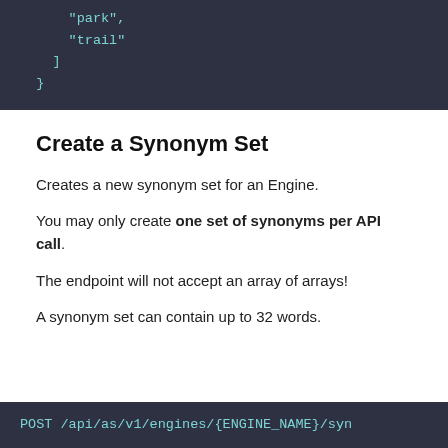[Figure (screenshot): Code block showing JSON with 'park' and 'trail' strings inside an array, closing bracket and brace]
Create a Synonym Set
Creates a new synonym set for an Engine.
You may only create one set of synonyms per API call.
The endpoint will not accept an array of arrays!
A synonym set can contain up to 32 words.
[Figure (screenshot): Code block showing: POST /api/as/v1/engines/{ENGINE_NAME}/syn...]